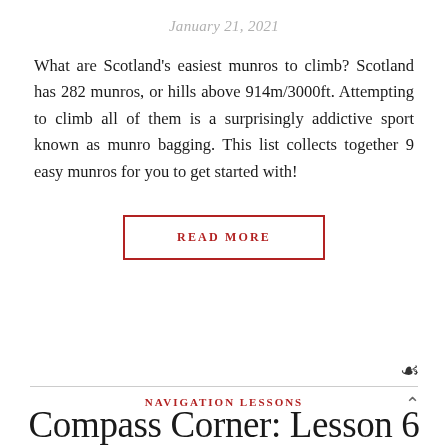January 21, 2021
What are Scotland’s easiest munros to climb? Scotland has 282 munros, or hills above 914m/3000ft. Attempting to climb all of them is a surprisingly addictive sport known as munro bagging. This list collects together 9 easy munros for you to get started with!
READ MORE
NAVIGATION LESSONS
Compass Corner: Lesson 6